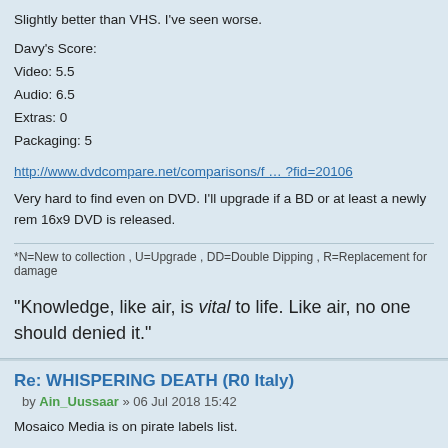Slightly better than VHS. I've seen worse.
Davy's Score:
Video: 5.5
Audio: 6.5
Extras: 0
Packaging: 5
http://www.dvdcompare.net/comparisons/f … ?fid=20106
Very hard to find even on DVD. I'll upgrade if a BD or at least a newly rem 16x9 DVD is released.
*N=New to collection , U=Upgrade , DD=Double Dipping , R=Replacement for damage
“Knowledge, like air, is vital to life. Like air, no one should denied it.”
Re: WHISPERING DEATH (R0 Italy)
by Ain_Uussaar » 06 Jul 2018 15:42
Mosaico Media is on pirate labels list.